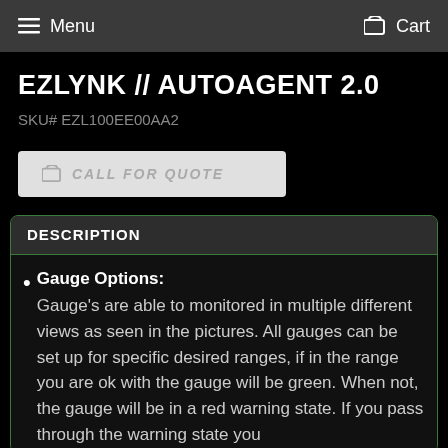Menu  Cart
EZLYNK // AUTOAGENT 2.0
SKU# EZL100EE00AA2
CALL FOR QUOTE
DESCRIPTION
Gauge Options: Gauge's are able to monitored in multiple different views as seen in the pictures. All gauges can be set up for specific desired ranges, if in the range you are ok with the gauge will be green. When not, the gauge will be in a red warning state. If you pass through the warning state you